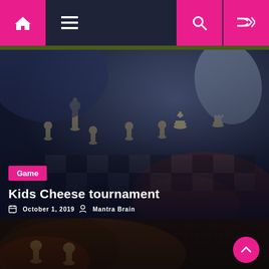Navigation bar with home, menu, search, and shuffle icons
[Figure (photo): A hand moving a chess piece (king) on a chess board with many pieces visible, dark moody lighting with blue tones]
Game
Kids Cheese tournament
October 1, 2019   Mantra Brain
[Figure (photo): Partial view of another chess-related article card at bottom of page]